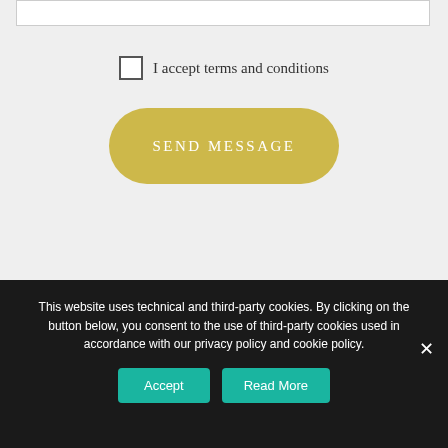[Figure (screenshot): White input field box at the top of the form]
I accept terms and conditions
SEND MESSAGE
This website uses technical and third-party cookies. By clicking on the button below, you consent to the use of third-party cookies used in accordance with our privacy policy and cookie policy.
Accept
Read More